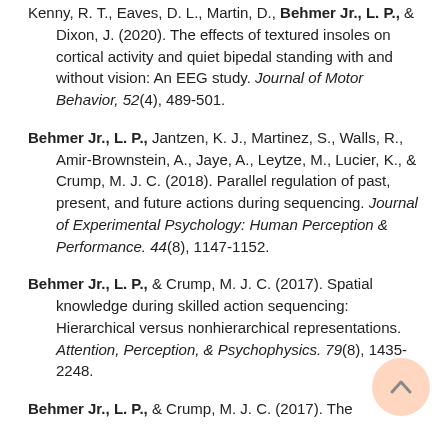Kenny, R. T., Eaves, D. L., Martin, D., Behmer Jr., L. P., & Dixon, J. (2020). The effects of textured insoles on cortical activity and quiet bipedal standing with and without vision: An EEG study. Journal of Motor Behavior, 52(4), 489-501.
Behmer Jr., L. P., Jantzen, K. J., Martinez, S., Walls, R., Amir-Brownstein, A., Jaye, A., Leytze, M., Lucier, K., & Crump, M. J. C. (2018). Parallel regulation of past, present, and future actions during sequencing. Journal of Experimental Psychology: Human Perception & Performance. 44(8), 1147-1152.
Behmer Jr., L. P., & Crump, M. J. C. (2017). Spatial knowledge during skilled action sequencing: Hierarchical versus nonhierarchical representations. Attention, Perception, & Psychophysics. 79(8), 1435-2248.
Behmer Jr., L. P., & Crump, M. J. C. (2017). The